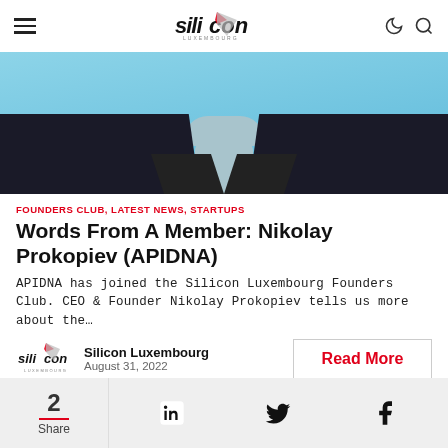silicon Luxembourg
[Figure (photo): Cropped photo of a person in a dark suit against a light blue background, showing neck and shoulders only]
FOUNDERS CLUB, LATEST NEWS, STARTUPS
Words From A Member: Nikolay Prokopiev (APIDNA)
APIDNA has joined the Silicon Luxembourg Founders Club. CEO & Founder Nikolay Prokopiev tells us more about the…
Silicon Luxembourg
August 31, 2022
Read More
2
Share